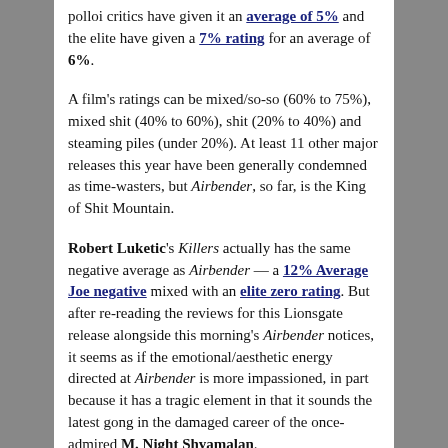polloi critics have given it an average of 5% and the elite have given a 7% rating for an average of 6%.
A film's ratings can be mixed/so-so (60% to 75%), mixed shit (40% to 60%), shit (20% to 40%) and steaming piles (under 20%). At least 11 other major releases this year have been generally condemned as time-wasters, but Airbender, so far, is the King of Shit Mountain.
Robert Luketic's Killers actually has the same negative average as Airbender — a 12% Average Joe negative mixed with an elite zero rating. But after re-reading the reviews for this Lionsgate release alongside this morning's Airbender notices, it seems as if the emotional/aesthetic energy directed at Airbender is more impassioned, in part because it has a tragic element in that it sounds the latest gong in the damaged career of the once-admired M. Night Shyamalan.
Jonah Hex is the third worst-rated, if you will, with a 9% average — 12% general, 7% creme de la creme.